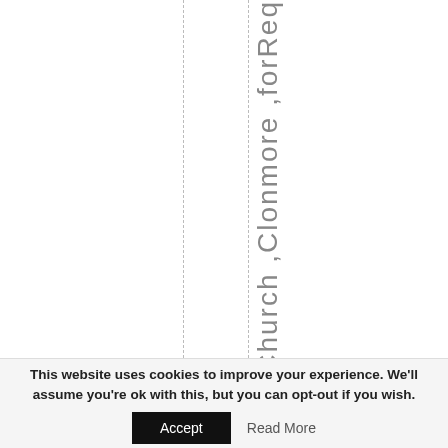sChurch ,Clonmore ,forReq
This website uses cookies to improve your experience. We'll assume you're ok with this, but you can opt-out if you wish.
Accept
Read More